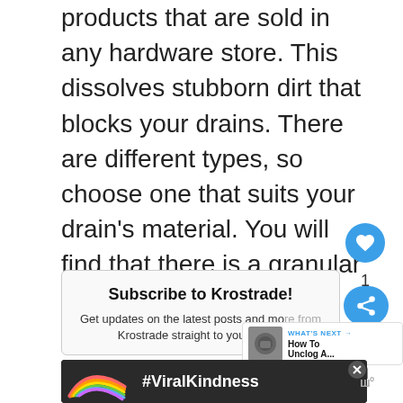products that are sold in any hardware store. This dissolves stubborn dirt that blocks your drains. There are different types, so choose one that suits your drain's material. You will find that there is a granular and liquid kind of drain cleaner. Follow the instructions to use the drain cleaner.
[Figure (other): Blue circular heart/favorite button icon]
[Figure (other): Share count showing '1' and blue share button]
Subscribe to Krostrade!
Get updates on the latest posts and more from Krostrade straight to your inbox.
[Figure (other): What's Next panel showing washing machine thumbnail and text 'How To Unclog A...']
[Figure (other): Advertisement banner showing a rainbow illustration with text '#ViralKindness' on dark background]